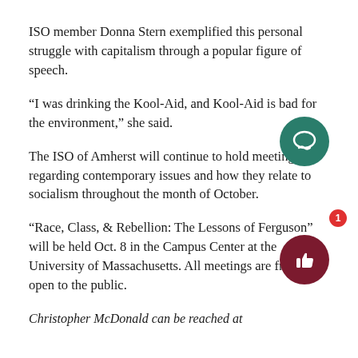ISO member Donna Stern exemplified this personal struggle with capitalism through a popular figure of speech.
“I was drinking the Kool-Aid, and Kool-Aid is bad for the environment,” she said.
The ISO of Amherst will continue to hold meetings regarding contemporary issues and how they relate to socialism throughout the month of October.
“Race, Class, & Rebellion: The Lessons of Ferguson” will be held Oct. 8 in the Campus Center at the University of Massachusetts. All meetings are free and open to the public.
Christopher McDonald can be reached at